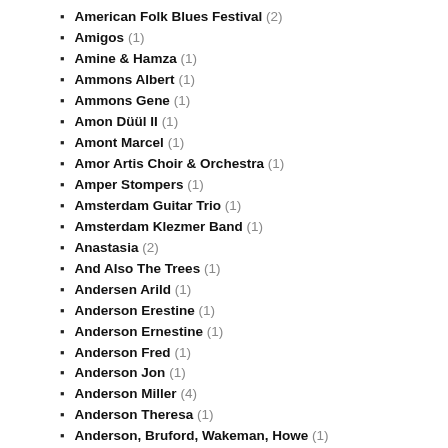American Folk Blues Festival (2)
Amigos (1)
Amine & Hamza (1)
Ammons Albert (1)
Ammons Gene (1)
Amon Düül II (1)
Amont Marcel (1)
Amor Artis Choir & Orchestra (1)
Amper Stompers (1)
Amsterdam Guitar Trio (1)
Amsterdam Klezmer Band (1)
Anastasia (2)
And Also The Trees (1)
Andersen Arild (1)
Anderson Erestine (1)
Anderson Ernestine (1)
Anderson Fred (1)
Anderson Jon (1)
Anderson Miller (4)
Anderson Theresa (1)
Anderson, Bruford, Wakeman, Howe (1)